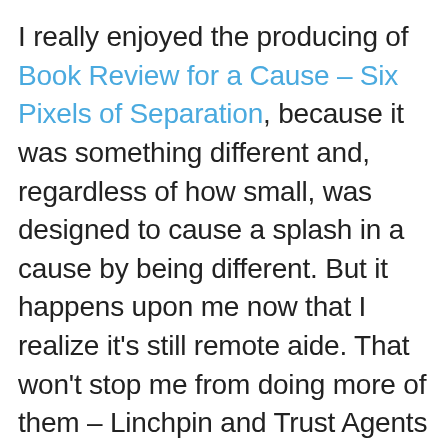I really enjoyed the producing of Book Review for a Cause – Six Pixels of Separation, because it was something different and, regardless of how small, was designed to cause a splash in a cause by being different. But it happens upon me now that I realize it's still remote aide. That won't stop me from doing more of them – Linchpin and Trust Agents are up next in the series, so I'll have to make contacts quickly for those – but still, I feel there was a missed step.